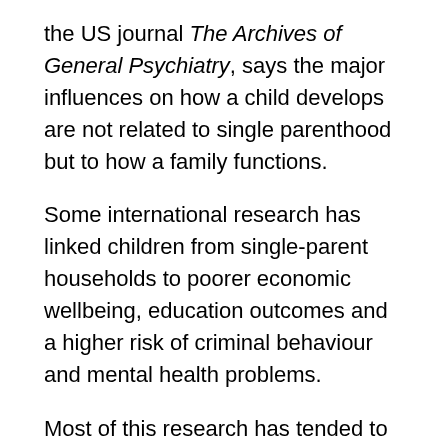the US journal The Archives of General Psychiatry, says the major influences on how a child develops are not related to single parenthood but to how a family functions.
Some international research has linked children from single-parent households to poorer economic wellbeing, education outcomes and a higher risk of criminal behaviour and mental health problems.
Most of this research has tended to focus on childhood, and relatively little has been reported on the longer-term consequences of being reared in a single-parent family.
Professor David Fergusson, who leads the long-